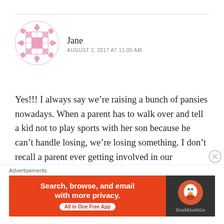[Figure (illustration): Pink geometric/floral avatar icon — a circular badge with pink cross-hatch/diamond pattern against white background]
Jane
AUGUST 2, 2017 AT 11:00 AM
Yes!!! I always say we're raising a bunch of pansies nowadays. When a parent has to walk over and tell a kid not to play sports with her son because he can't handle losing, we're losing something. I don't recall a parent ever getting involved in our neighborhood tiffs!! You went inside, cooled off and came back out when you were ready to play. No helicoptering required!! Ugh Kids gotta learn how to lose with some grit! You win some, and you lose some in the game of life.
Advertisements
[Figure (screenshot): DuckDuckGo advertisement banner: orange/red left side with text 'Search, browse, and email with more privacy.' and 'All in One Free App' pill button; dark right side with DuckDuckGo duck logo and 'DuckDuckGo' text]